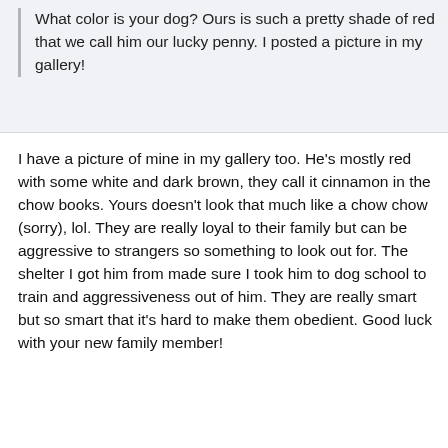What color is your dog? Ours is such a pretty shade of red that we call him our lucky penny. I posted a picture in my gallery!
I have a picture of mine in my gallery too. He's mostly red with some white and dark brown, they call it cinnamon in the chow books. Yours doesn't look that much like a chow chow (sorry), lol. They are really loyal to their family but can be aggressive to strangers so something to look out for. The shelter I got him from made sure I took him to dog school to train and aggressiveness out of him. They are really smart but so smart that it's hard to make them obedient. Good luck with your new family member!
Your dog is beautiful! Don't worry about offending me by saying mine doesn't look chow, I totally agree! In fact if the rescue lady hadn't told me she knew for a fact that his mama was a chow, I never would have believed it. I saw him and thought, "golden retriever" and that's what drew me to him. He's sleeping at the foot of my bed right now with one of my two cats. So far other than being a little shy, he's been great with strangers but I walk almost every day and my dogs (and cats in a